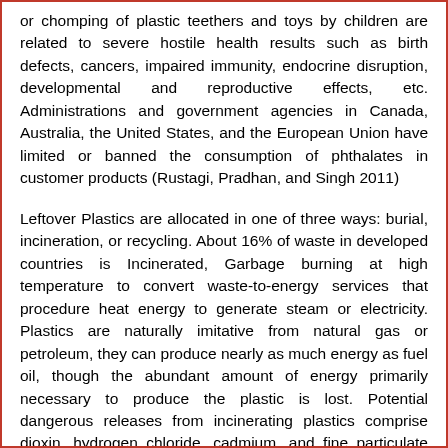or chomping of plastic teethers and toys by children are related to severe hostile health results such as birth defects, cancers, impaired immunity, endocrine disruption, developmental and reproductive effects, etc. Administrations and government agencies in Canada, Australia, the United States, and the European Union have limited or banned the consumption of phthalates in customer products (Rustagi, Pradhan, and Singh 2011)
Leftover Plastics are allocated in one of three ways: burial, incineration, or recycling. About 16% of waste in developed countries is Incinerated, Garbage burning at high temperature to convert waste-to-energy services that procedure heat energy to generate steam or electricity. Plastics are naturally imitative from natural gas or petroleum, they can produce nearly as much energy as fuel oil, though the abundant amount of energy primarily necessary to produce the plastic is lost. Potential dangerous releases from incinerating plastics comprise dioxin, hydrogen chloride, cadmium, and fine particulate matter. Even with stricter air pollution standards in